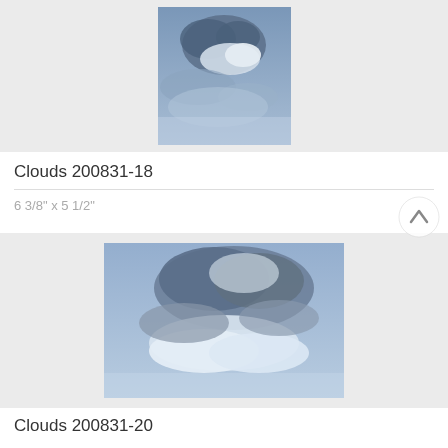[Figure (photo): Painting of clouds in blue-grey tones, portrait orientation, shown against a light grey background card]
Clouds 200831-18
6 3/8" x 5 1/2"
[Figure (photo): Painting of clouds in blue-grey and white tones, landscape orientation, shown against a light grey background card]
Clouds 200831-20